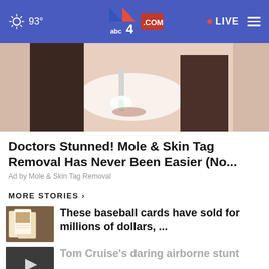93° abc4.com LIVE
[Figure (photo): Woman applying white cream/paste to her face with a small green-handled brush]
Doctors Stunned! Mole & Skin Tag Removal Has Never Been Easier (No...
Ad by Mole & Skin Tag Removal
MORE STORIES >
[Figure (photo): Baseball cards thumbnail]
These baseball cards have sold for millions of dollars, ...
[Figure (photo): Tom Cruise video thumbnail with play button]
Tom Cruise's daring airborne stunt
BUZZED AND DOING SOMETHING TO MAKE YOURSELF OKAY TO DRIVE?